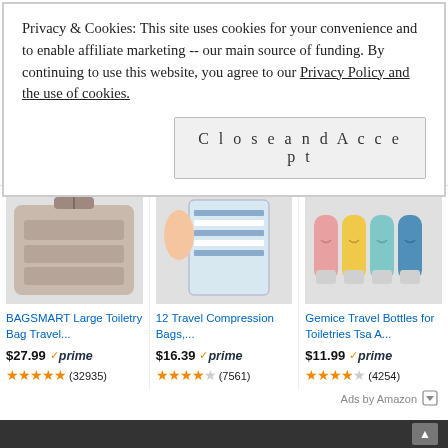Privacy & Cookies: This site uses cookies for your convenience and to enable affiliate marketing -- our main source of funding. By continuing to use this website, you agree to our Privacy Policy and the use of cookies.
Close and Accept
[Figure (photo): BAGSMART Large Toiletry Bag Travel product image showing an open hanging toiletry organizer bag in beige/pink color]
BAGSMART Large Toiletry Bag Travel...
$27.99 ✓prime ★★★★★ (32935)
[Figure (photo): 12 Travel Compression Bags product image showing hands compressing a striped bag into a clear plastic compression bag]
12 Travel Compression Bags,...
$16.39 ✓prime ★★★★½ (7561)
[Figure (photo): Gemice Travel Bottles for Toiletries Tsa A... product image showing four silicone travel bottles in pink, yellow, light blue, and dark blue colors]
Gemice Travel Bottles for Toiletries Tsa A...
$11.99 ✓prime ★★★★½ (4254)
Ads by Amazon